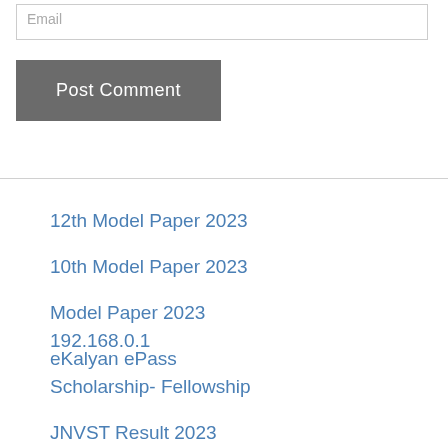Email
Post Comment
12th Model Paper 2023
10th Model Paper 2023
Model Paper 2023
eKalyan ePass
192.168.0.1
Scholarship- Fellowship
JNVST Result 2023